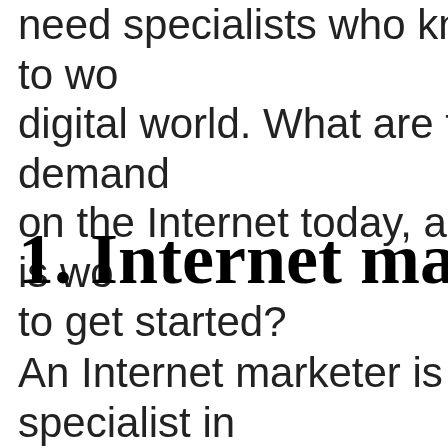need specialists who know how to wo digital world. What are the in-demand on the Internet today, and what is wo to get started?
1. Internet mar
An Internet marketer is a specialist in products and services. His task is to a audience through online advertising c